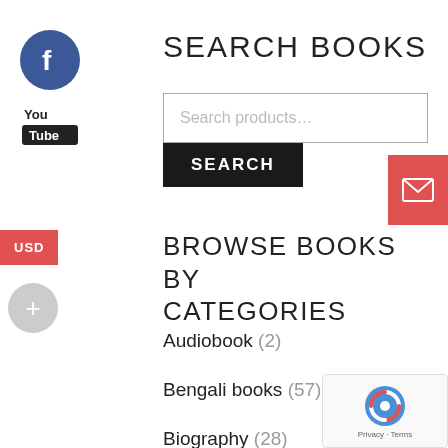[Figure (logo): Facebook circular blue icon with white 'f' letter]
[Figure (logo): YouTube logo in black and white]
SEARCH BOOKS
[Figure (screenshot): Search input box with placeholder 'Search products...']
[Figure (screenshot): Black SEARCH button]
[Figure (logo): Red mail/envelope button on right edge]
[Figure (screenshot): Red USD currency button on left edge]
[Figure (screenshot): Grey circular plus button on left edge]
BROWSE BOOKS BY CATEGORIES
Audiobook (2)
Bengali books (57)
Biography (28)
Children's Books (16)